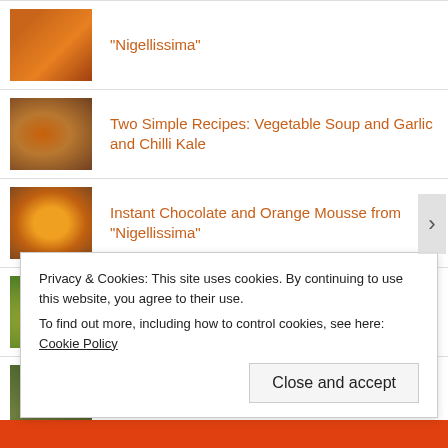"Nigellissima"
Two Simple Recipes: Vegetable Soup and Garlic and Chilli Kale
Instant Chocolate and Orange Mousse from "Nigellissima"
Warm Rice Salad with Halloumi
Sissinghurst Castle and Garden #1
Advertisements
Privacy & Cookies: This site uses cookies. By continuing to use this website, you agree to their use.
To find out more, including how to control cookies, see here: Cookie Policy
Close and accept